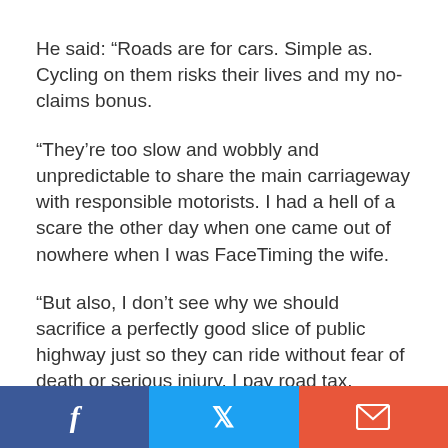He said: “Roads are for cars. Simple as. Cycling on them risks their lives and my no-claims bonus.
“They’re too slow and wobbly and unpredictable to share the main carriageway with responsible motorists. I had a hell of a scare the other day when one came out of nowhere when I was FaceTiming the wife.
“But also, I don’t see why we should sacrifice a perfectly good slice of public highway just so they can ride without fear of death or serious injury. I pay road tax.
“So when I’m not uploading dashcam footage of dangerous cyclists and encouraging social media